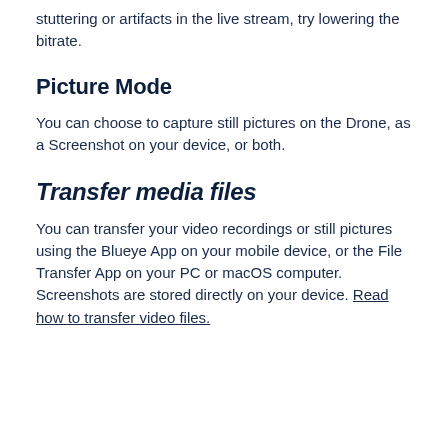stuttering or artifacts in the live stream, try lowering the bitrate.
Picture Mode
You can choose to capture still pictures on the Drone, as a Screenshot on your device, or both.
Transfer media files
You can transfer your video recordings or still pictures using the Blueye App on your mobile device, or the File Transfer App on your PC or macOS computer. Screenshots are stored directly on your device. Read how to transfer video files.